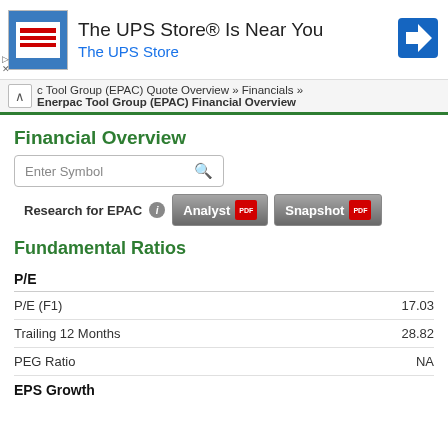[Figure (other): UPS Store advertisement banner with store icon, text 'The UPS Store® Is Near You', 'The UPS Store', and a blue navigation arrow icon]
c Tool Group (EPAC) Quote Overview » Financials » Enerpac Tool Group (EPAC) Financial Overview
Financial Overview
[Figure (other): Search input box with placeholder text 'Enter Symbol' and a search icon]
Research for EPAC
[Figure (other): Two PDF report buttons: 'Analyst' and 'Snapshot']
Fundamental Ratios
|  |  |
| --- | --- |
| P/E |  |
| P/E (F1) | 17.03 |
| Trailing 12 Months | 28.82 |
| PEG Ratio | NA |
EPS Growth